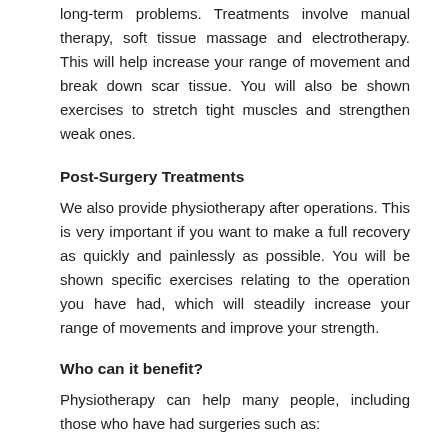long-term problems. Treatments involve manual therapy, soft tissue massage and electrotherapy. This will help increase your range of movement and break down scar tissue. You will also be shown exercises to stretch tight muscles and strengthen weak ones.
Post-Surgery Treatments
We also provide physiotherapy after operations. This is very important if you want to make a full recovery as quickly and painlessly as possible. You will be shown specific exercises relating to the operation you have had, which will steadily increase your range of movements and improve your strength.
Who can it benefit?
Physiotherapy can help many people, including those who have had surgeries such as:
knee surgery (e.g. anterior cruciate ligament reconstruction, cartilage repairs or any other knee arthroscopy)